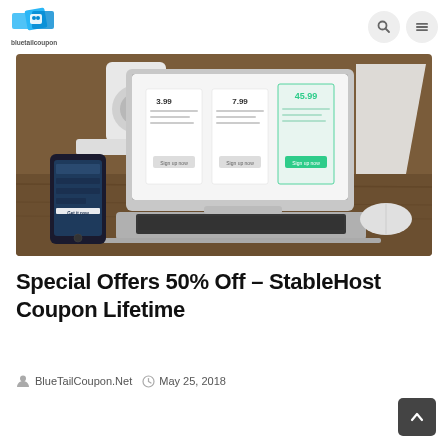[Figure (logo): BlueTailCoupon logo — colorful ticket/coupon icon with text 'bluetailcoupon' below]
[Figure (photo): Laptop on wooden desk showing a pricing page, with a smartphone and Apple accessories around it]
Special Offers 50% Off – StableHost Coupon Lifetime
BlueTailCoupon.Net   May 25, 2018